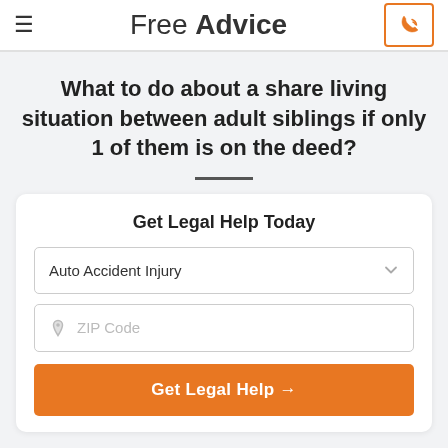Free Advice
What to do about a share living situation between adult siblings if only 1 of them is on the deed?
Get Legal Help Today
Auto Accident Injury
ZIP Code
Get Legal Help →